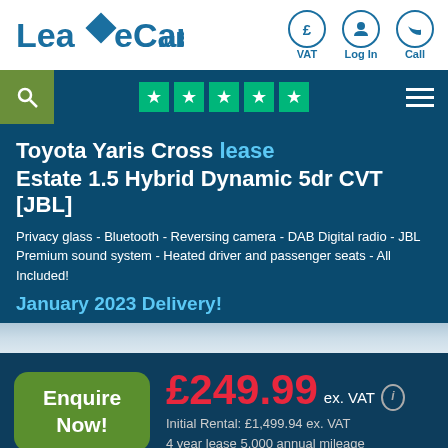LeaseCar.uk — VAT | Log In | Call
[Figure (screenshot): Navigation bar with search icon, Trustpilot 5-star rating, and hamburger menu]
Toyota Yaris Cross lease Estate 1.5 Hybrid Dynamic 5dr CVT [JBL]
Privacy glass - Bluetooth - Reversing camera - DAB Digital radio - JBL Premium sound system - Heated driver and passenger seats - All Included!
January 2023 Delivery!
[Figure (photo): Partial view of Toyota Yaris Cross car body]
Enquire Now! £249.99 ex. VAT ⓘ Initial Rental: £1,499.94 ex. VAT 4 year lease 5,000 annual mileage